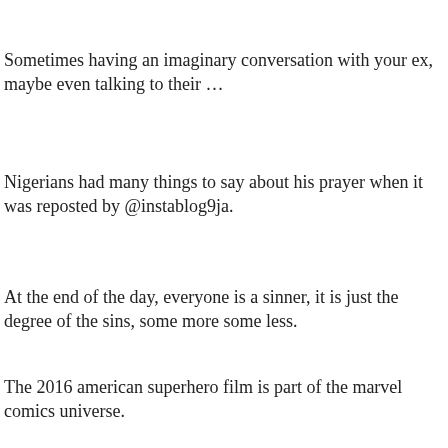Sometimes having an imaginary conversation with your ex, maybe even talking to their …
Nigerians had many things to say about his prayer when it was reposted by @instablog9ja.
At the end of the day, everyone is a sinner, it is just the degree of the sins, some more some less.
The 2016 american superhero film is part of the marvel comics universe.